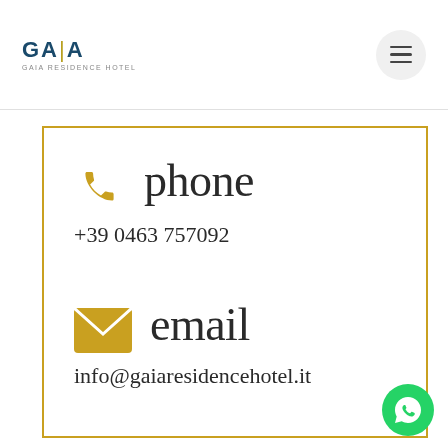[Figure (logo): GAIA hotel logo with stylized vertical bar in the letter A, subtitle text below]
[Figure (other): Hamburger menu button (three horizontal lines) in a circular grey button]
phone
+39 0463 757092
email
info@gaiaresidencehotel.it
[Figure (other): Green WhatsApp circular button with WhatsApp icon]